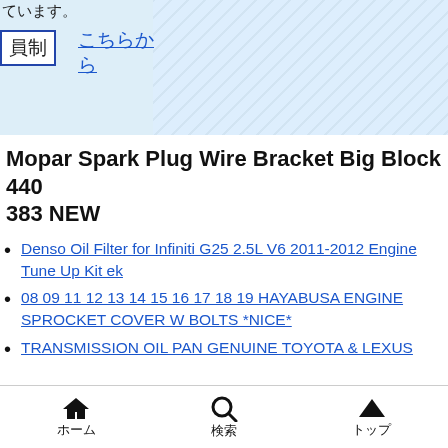ています。
員制　こちらから
Mopar Spark Plug Wire Bracket Big Block 440 383 NEW
Denso Oil Filter for Infiniti G25 2.5L V6 2011-2012 Engine Tune Up Kit ek
08 09 11 12 13 14 15 16 17 18 19 HAYABUSA ENGINE SPROCKET COVER W BOLTS *NICE*
TRANSMISSION OIL PAN GENUINE TOYOTA & LEXUS
ホーム　検索　トップ